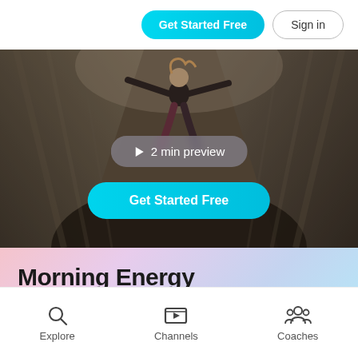[Figure (screenshot): App header with Get Started Free (cyan pill button) and Sign in (outlined pill button) in top right area]
[Figure (photo): Hero image of a person with arms outstretched standing on a rocky mountain/canyon landscape, with a 2 min preview button and Get Started Free cyan button overlaid]
Morning Energy
3 Min   Meditation   45 Favorites
[Figure (infographic): Bottom navigation bar with Explore (search icon), Channels (video player icon), and Coaches (group icon) tabs]